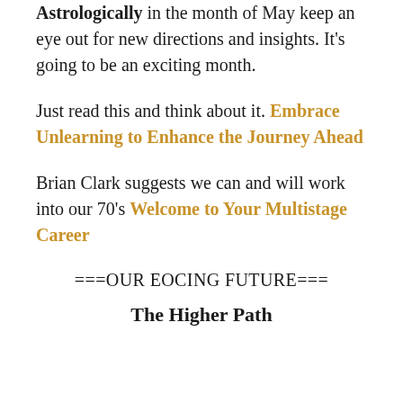Astrologically in the month of May keep an eye out for new directions and insights. It's going to be an exciting month.
Just read this and think about it. Embrace Unlearning to Enhance the Journey Ahead
Brian Clark suggests we can and will work into our 70's Welcome to Your Multistage Career
===OUR EOCING FUTURE===
The Higher Path